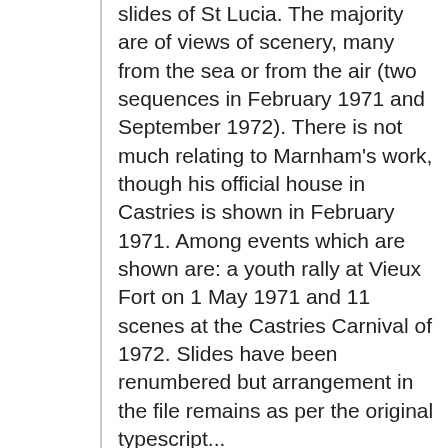slides of St Lucia. The majority are of views of scenery, many from the sea or from the air (two sequences in February 1971 and September 1972). There is not much relating to Marnham's work, though his official house in Castries is shown in February 1971. Among events which are shown are: a youth rally at Vieux Fort on 1 May 1971 and 11 scenes at the Castries Carnival of 1972. Slides have been renumbered but arrangement in the file remains as per the original typescript...
Dates: 1972-05
Conditions Governing